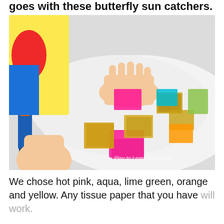goes with these butterfly sun catchers.
[Figure (photo): A child's hands placing colorful tissue paper pieces and metallic foil squares onto a white surface, with a glue stick visible on the left. Watermark reads 'Play to Learn Preschool'.]
We chose hot pink, aqua, lime green, orange and yellow. Any tissue paper that you have will work.